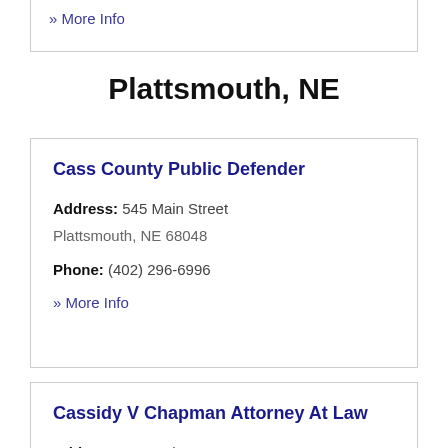» More Info
Plattsmouth, NE
Cass County Public Defender
Address: 545 Main Street
Plattsmouth, NE 68048
Phone: (402) 296-6996
» More Info
Cassidy V Chapman Attorney At Law
Address: 505 Main Street
Plattsmouth, NE 68048